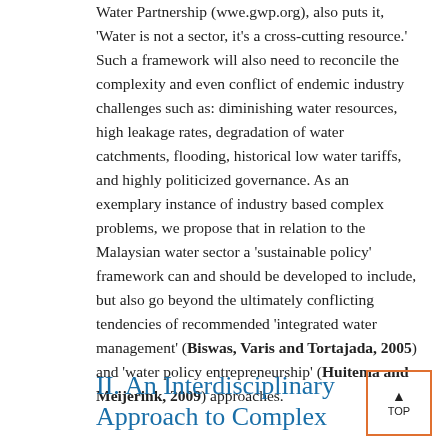Water Partnership (wwe.gwp.org), also puts it, 'Water is not a sector, it's a cross-cutting resource.' Such a framework will also need to reconcile the complexity and even conflict of endemic industry challenges such as: diminishing water resources, high leakage rates, degradation of water catchments, flooding, historical low water tariffs, and highly politicized governance. As an exemplary instance of industry based complex problems, we propose that in relation to the Malaysian water sector a 'sustainable policy' framework can and should be developed to include, but also go beyond the ultimately conflicting tendencies of recommended 'integrated water management' (Biswas, Varis and Tortajada, 2005) and 'water policy entrepreneurship' (Huitema and Meijerink, 2009) approaches.
II. An Interdisciplinary Approach to Complex